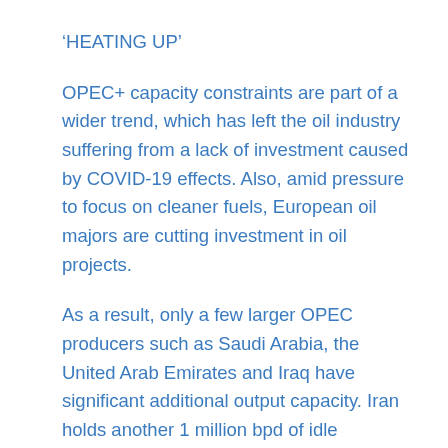'HEATING UP'
OPEC+ capacity constraints are part of a wider trend, which has left the oil industry suffering from a lack of investment caused by COVID-19 effects. Also, amid pressure to focus on cleaner fuels, European oil majors are cutting investment in oil projects.
As a result, only a few larger OPEC producers such as Saudi Arabia, the United Arab Emirates and Iraq have significant additional output capacity. Iran holds another 1 million bpd of idle capacity, but at least for now this is off the market due to U.S. sanctions.
Another OPEC source said outages and robust demand were driving the rally and further gains are likely without another hit to demand, with a return to $100 not ruled out.